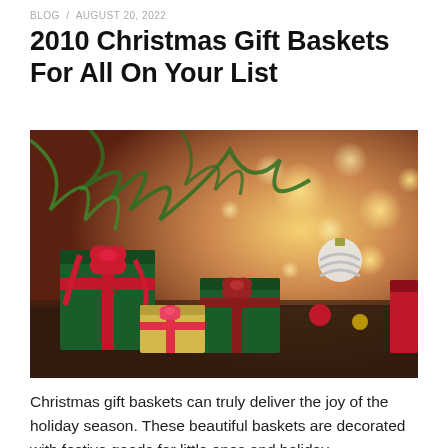BLOG / AUGUST 20, 2022
2010 Christmas Gift Baskets For All On Your List
[Figure (photo): Colorful Christmas gift boxes with red and plaid ribbons/bows arranged on a dark wooden surface, with a decorated Christmas tree and bokeh bokeh lights in the warm background]
Christmas gift baskets can truly deliver the joy of the holiday season. These beautiful baskets are decorated with festive goods for little ones and holiday…